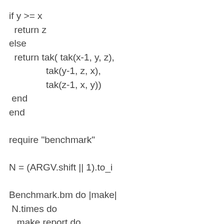if y >= x
  return z
else
  return tak( tak(x-1, y, z),
              tak(y-1, z, x),
              tak(z-1, x, y))
 end
end

require "benchmark"

N = (ARGV.shift || 1).to_i

Benchmark.bm do |make|
 N.times do
   make.report do
     i = 0
     while i<10